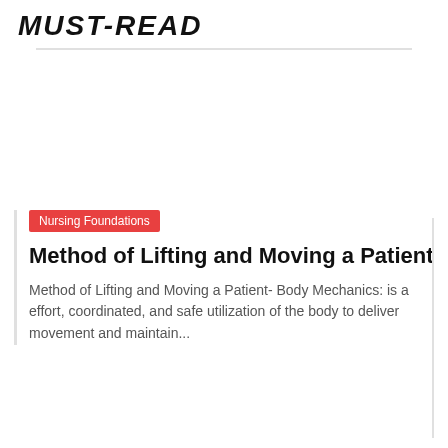MUST-READ
Nursing Foundations
Method of Lifting and Moving a Patient
Method of Lifting and Moving a Patient- Body Mechanics: is a effort, coordinated, and safe utilization of the body to deliver movement and maintain...